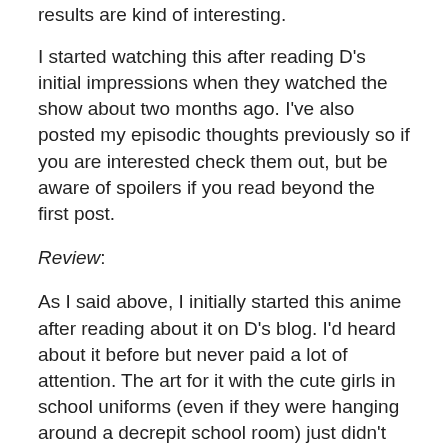results are kind of interesting.
I started watching this after reading D's initial impressions when they watched the show about two months ago. I've also posted my episodic thoughts previously so if you are interested check them out, but be aware of spoilers if you read beyond the first post.
Review:
As I said above, I initially started this anime after reading about it on D's blog. I'd heard about it before but never paid a lot of attention. The art for it with the cute girls in school uniforms (even if they were hanging around a decrepit school room) just didn't really leap out and say it was a must watch.